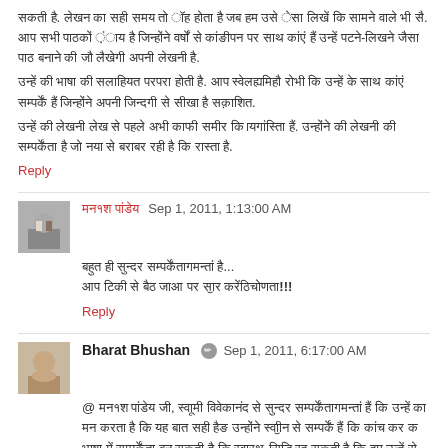Hindi paragraph text (comment body, first block)
Reply
Hindi commenter name  Sep 1, 2011, 1:13:00 AM
Hindi comment text line 1...
Hindi comment text line 2!!!
Reply
Bharat Bhushan  Sep 1, 2011, 6:17:00 AM
@ Hindi commenter name, long Hindi comment text paragraph...